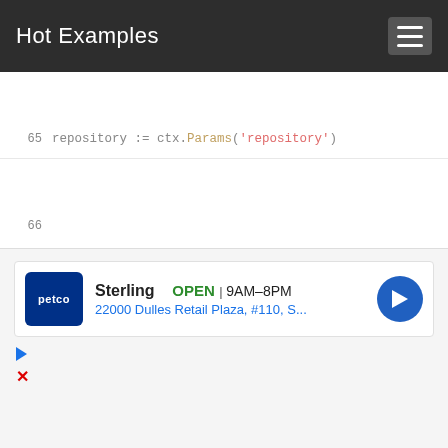Hot Examples
[Figure (screenshot): Code snippet showing Go language code lines 65-79 with syntax highlighting. Keywords in red/pink, method calls in red, string literals in red, package names in gold, green bracket index.]
[Figure (screenshot): Advertisement banner for Petco Sterling store showing OPEN status, hours 9AM-8PM, address 22000 Dulles Retail Plaza #110, S..., with navigation arrow icon and close/play controls.]